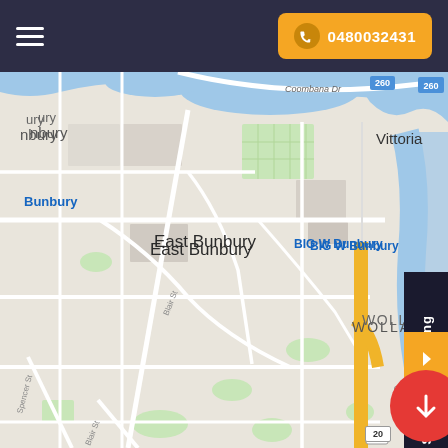0480032431
[Figure (map): Google Maps screenshot showing Bunbury, East Bunbury, and Wollaston areas in Western Australia. Map shows streets, waterways, parks, and landmarks including BIG W Bunbury, Bunbury Farmers Market, Vittoria. Blue location pins mark Bunbury and BIG W Bunbury. A bus stop icon is visible. Roads shown include Blair St, Spencer St, Picton Rd, Coombana Dr. Route numbers 260, 1, and 20 are visible.]
Schedule Booking